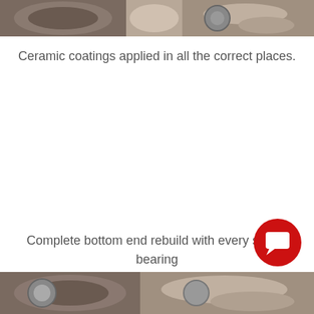[Figure (photo): Top portion of a photo showing mechanical parts, engine components with metallic surfaces visible at the top of the page]
Ceramic coatings applied in all the correct places.
Complete bottom end rebuild with every seal & bearing replaced.
[Figure (illustration): Red circular chat/support button icon with white speech bubble in bottom right corner]
[Figure (photo): Bottom portion of a photo showing mechanical/engine parts with metallic components visible at the bottom of the page]